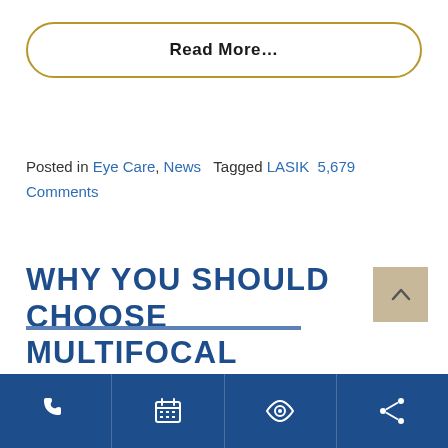Read More…
Posted in Eye Care, News  Tagged LASIK  5,679 Comments
WHY YOU SHOULD CHOOSE MULTIFOCAL CONTACT LENSES
[Figure (other): Back to top arrow button (tan/beige square with upward chevron)]
Navigation bar with phone, calendar, eye, and share icons